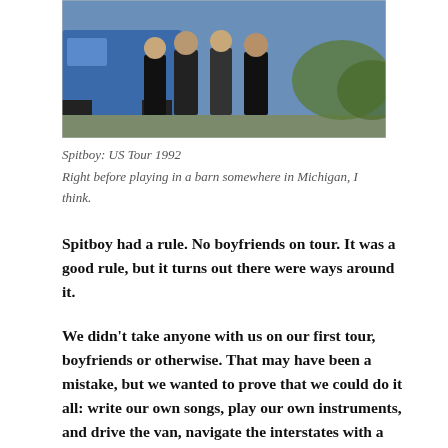[Figure (photo): Black and white / color photograph of Spitboy band members standing near a blue van outdoors, taken during US Tour 1992, right before playing in a barn somewhere in Michigan.]
Spitboy: US Tour 1992
Right before playing in a barn somewhere in Michigan, I think.
Spitboy had a rule. No boyfriends on tour. It was a good rule, but it turns out there were ways around it.
We didn't take anyone with us on our first tour, boyfriends or otherwise. That may have been a mistake, but we wanted to prove that we could do it all: write our own songs, play our own instruments, and drive the van, navigate the interstates with a map, unload our own equipment, and change our own tires (and in only a matter of minutes). Paula, our bass player, even fixed the van when it broke down. She